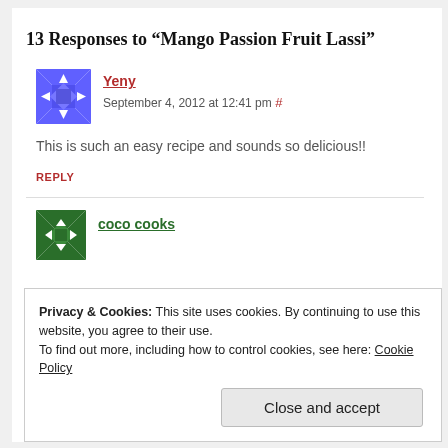13 Responses to “Mango Passion Fruit Lassi”
Yeny
September 4, 2012 at 12:41 pm #
This is such an easy recipe and sounds so delicious!!
REPLY
coco cooks
Privacy & Cookies: This site uses cookies. By continuing to use this website, you agree to their use.
To find out more, including how to control cookies, see here: Cookie Policy
Close and accept